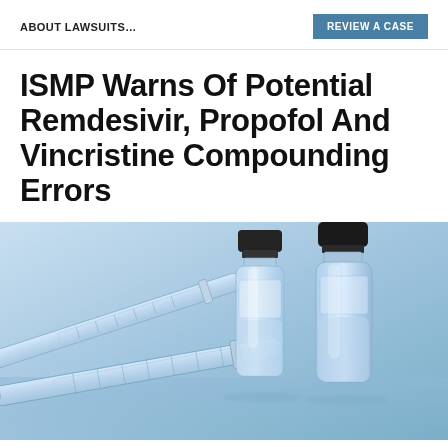ABOUT LAWSUITS...
REVIEW A CASE
ISMP Warns Of Potential Remdesivir, Propofol And Vincristine Compounding Errors
[Figure (photo): Medical photo showing two glass medicine vials with black caps and two syringes with needles on a blue reflective surface, suggesting pharmaceutical/medical context]